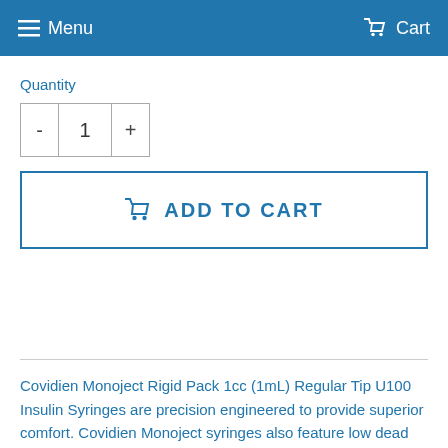Menu   Cart
Quantity
[Figure (other): Quantity selector control with minus button, value '1', and plus button]
[Figure (other): Add to Cart button with cart icon]
Covidien Monoject Rigid Pack 1cc (1mL) Regular Tip U100 Insulin Syringes are precision engineered to provide superior comfort. Covidien Monoject syringes also feature low dead space design technology which reduces insulin loss in hub and precisely and